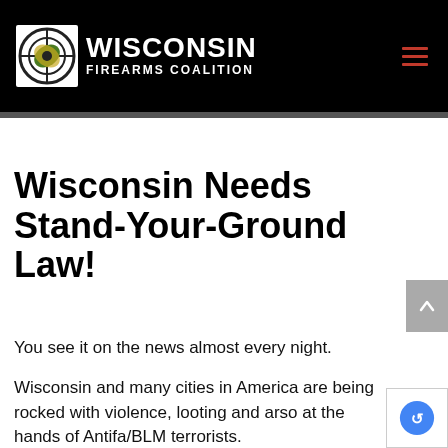WISCONSIN FIREARMS COALITION
Wisconsin Needs Stand-Your-Ground Law!
You see it on the news almost every night.
Wisconsin and many cities in America are being rocked with violence, looting and arso at the hands of Antifa/BLM terrorists.